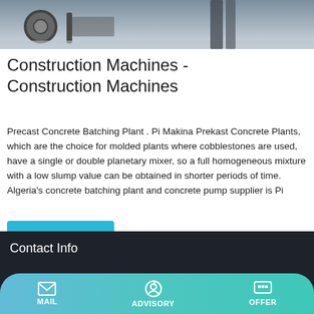[Figure (photo): Top portion of a construction machine photo showing wheels/machinery on a concrete surface]
Construction Machines - Construction Machines
Precast Concrete Batching Plant . Pi Makina Prekast Concrete Plants, which are the choice for molded plants where cobblestones are used, have a single or double planetary mixer, so a full homogeneous mixture with a low slump value can be obtained in shorter periods of time. Algeria's concrete batching plant and concrete pump supplier is Pi
Learn More
Contact Info
MAIL   ADVISORY   OFFER